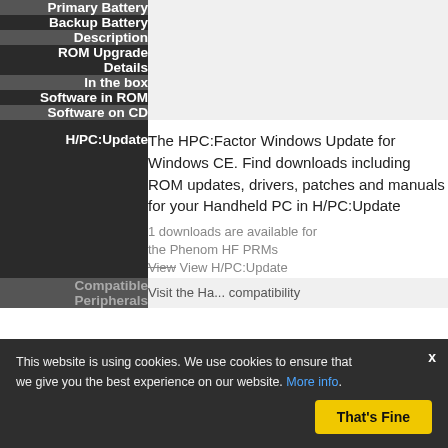| Field | Value |
| --- | --- |
| Primary Battery |  |
| Backup Battery |  |
| Description |  |
| ROM Upgrade Details |  |
| In the box |  |
| Software in ROM |  |
| Software on CD |  |
| H/PC:Update | The HPC:Factor Windows Update for Windows CE. Find downloads including ROM updates, drivers, patches and manuals for your Handheld PC in H/PC:Update
1 downloads are available for the Phenom HF PRMs
View View H/PC:Update |
| Compatible Peripherals | Visit the Ha... compatibility |
This website is using cookies. We use cookies to ensure that we give you the best experience on our website. More info. That's Fine